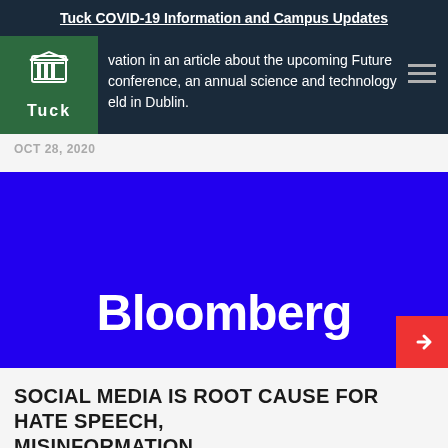Tuck COVID-19 Information and Campus Updates
vation in an article about the upcoming Future conference, an annual science and technology eld in Dublin.
OCT 28, 2020
[Figure (logo): Bloomberg logo on blue background with red share button]
SOCIAL MEDIA IS ROOT CAUSE FOR HATE SPEECH, MISINFORMATION